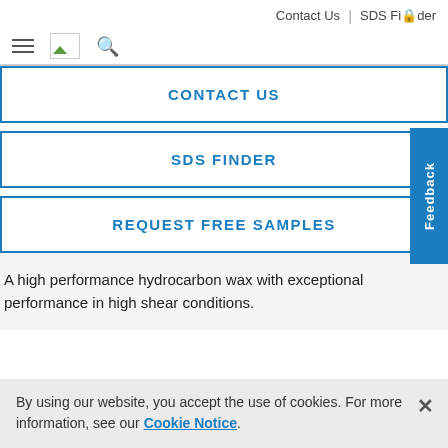Contact Us | SDS Finder
CONTACT US
SDS FINDER
REQUEST FREE SAMPLES
A high performance hydrocarbon wax with exceptional performance in high shear conditions.
By using our website, you accept the use of cookies. For more information, see our Cookie Notice.